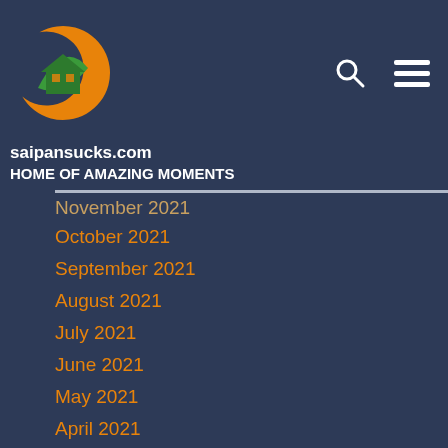saipansucks.com HOME OF AMAZING MOMENTS
November 2021
October 2021
September 2021
August 2021
July 2021
June 2021
May 2021
April 2021
March 2021
February 2021
January 2021